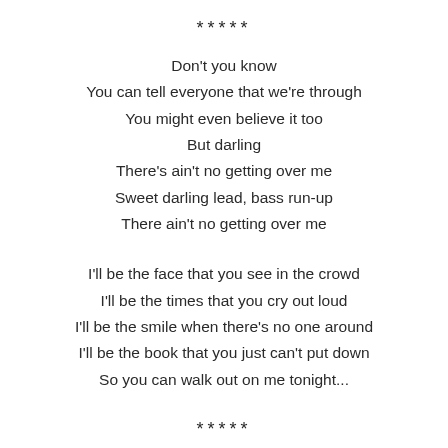*****
Don't you know
You can tell everyone that we're through
You might even believe it too
But darling
There's ain't no getting over me
Sweet darling lead, bass run-up
There ain't no getting over me
I'll be the face that you see in the crowd
I'll be the times that you cry out loud
I'll be the smile when there's no one around
I'll be the book that you just can't put down
So you can walk out on me tonight...
*****